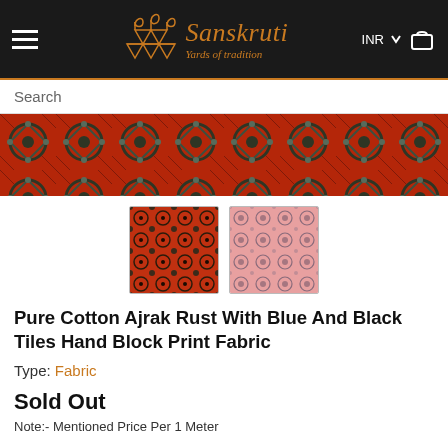Sanskruti — Yards of tradition
Search
[Figure (photo): Wide banner photo of red fabric with blue and black ajrak tile block print pattern, showing intricate geometric floral motifs.]
[Figure (photo): Thumbnail of rust-red ajrak fabric with blue and black hand block print tile pattern.]
[Figure (photo): Thumbnail of lighter pink-red ajrak fabric with blue hand block print pattern.]
Pure Cotton Ajrak Rust With Blue And Black Tiles Hand Block Print Fabric
Type: Fabric
Sold Out
Note:- Mentioned Price Per 1 Meter